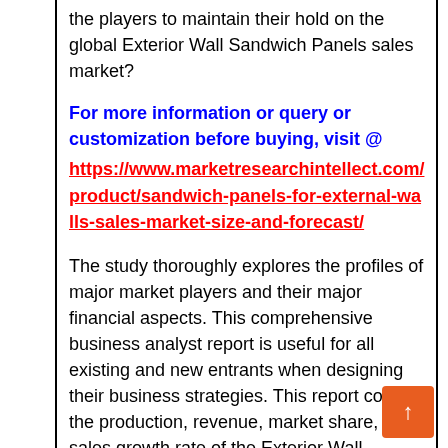the players to maintain their hold on the global Exterior Wall Sandwich Panels sales market?
For more information or query or customization before buying, visit @ https://www.marketresearchintellect.com/product/sandwich-panels-for-external-walls-sales-market-size-and-forecast/
The study thoroughly explores the profiles of major market players and their major financial aspects. This comprehensive business analyst report is useful for all existing and new entrants when designing their business strategies. This report covers the production, revenue, market share, and sales growth rate of the Exterior Wall Sandwich Panels market for each key company, and covers the breakdown data (production,